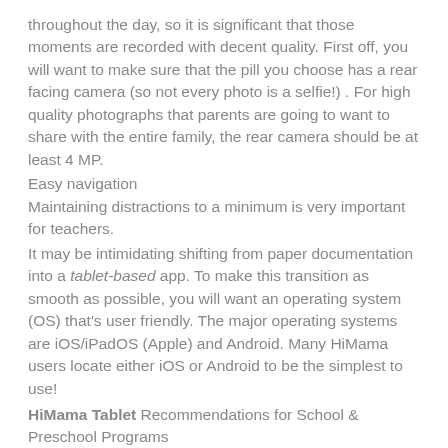throughout the day, so it is significant that those moments are recorded with decent quality. First off, you will want to make sure that the pill you choose has a rear facing camera (so not every photo is a selfie!) . For high quality photographs that parents are going to want to share with the entire family, the rear camera should be at least 4 MP.
Easy navigation
Maintaining distractions to a minimum is very important for teachers.
It may be intimidating shifting from paper documentation into a tablet-based app. To make this transition as smooth as possible, you will want an operating system (OS) that's user friendly. The major operating systems are iOS/iPadOS (Apple) and Android. Many HiMama users locate either iOS or Android to be the simplest to use!
HiMama Tablet Recommendations for School & Preschool Programs
Camera: 5MP Rear Camera
Battery: Up to 12 Hours